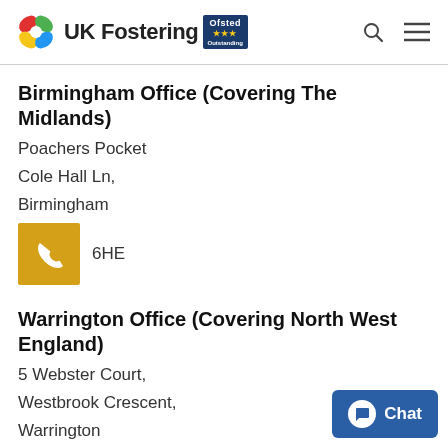UK Fostering Ofsted Outstanding
Birmingham Office (Covering The Midlands)
Poachers Pocket
Cole Hall Ln,
Birmingham
6HE
Warrington Office (Covering North West England)
5 Webster Court,
Westbrook Crescent,
Warrington
WA5 8WD